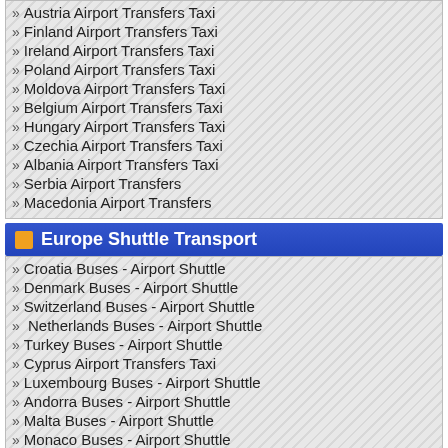Austria Airport Transfers Taxi
Finland Airport Transfers Taxi
Ireland Airport Transfers Taxi
Poland Airport Transfers Taxi
Moldova Airport Transfers Taxi
Belgium Airport Transfers Taxi
Hungary Airport Transfers Taxi
Czechia Airport Transfers Taxi
Albania Airport Transfers Taxi
Serbia Airport Transfers
Macedonia Airport Transfers
Europe Shuttle Transport
Croatia Buses - Airport Shuttle
Denmark Buses - Airport Shuttle
Switzerland Buses - Airport Shuttle
Netherlands Buses - Airport Shuttle
Turkey Buses - Airport Shuttle
Cyprus Airport Transfers Taxi
Luxembourg Buses - Airport Shuttle
Andorra Buses - Airport Shuttle
Malta Buses - Airport Shuttle
Monaco Buses - Airport Shuttle
Vatican City Buses - Airport Shuttle
Yugoslavia Buses - Airport Shuttle
ATT Around the World